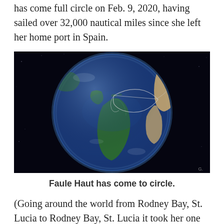has come full circle on Feb. 9, 2020, having sailed over 32,000 nautical miles since she left her home port in Spain.
[Figure (map): Satellite view of Earth showing the Atlantic Ocean, South America, and a route line traced across the ocean, indicating a sailing circumnavigation path.]
Faule Haut has come to circle.
(Going around the world from Rodney Bay, St. Lucia to Rodney Bay, St. Lucia it took her one year, eight months and eleven days.)